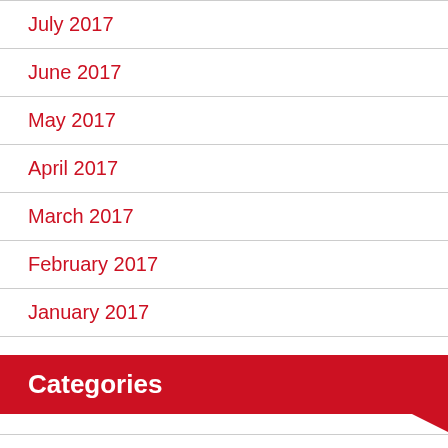July 2017
June 2017
May 2017
April 2017
March 2017
February 2017
January 2017
Categories
Attorney
General
Law
Law & Legal Firm